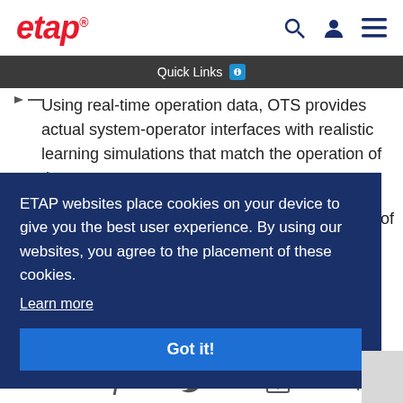[Figure (logo): ETAP logo in red italic bold text with trademark symbol]
Quick Links
Using real-time operation data, OTS provides actual system-operator interfaces with realistic learning simulations that match the operation of the power
ETAP websites place cookies on your device to give you the best user experience. By using our websites, you agree to the placement of these cookies.
Learn more
Got it!
LinkedIn Facebook Twitter Email Plus